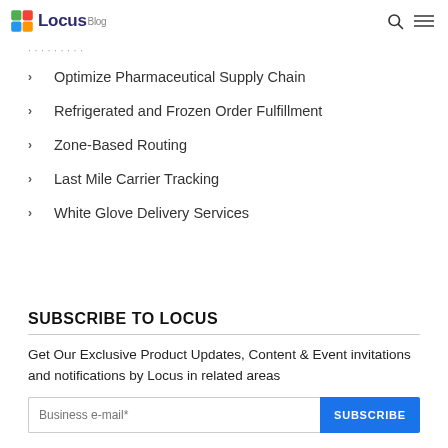Locus Blog
Optimize Pharmaceutical Supply Chain
Refrigerated and Frozen Order Fulfillment
Zone-Based Routing
Last Mile Carrier Tracking
White Glove Delivery Services
SUBSCRIBE TO LOCUS
Get Our Exclusive Product Updates, Content & Event invitations and notifications by Locus in related areas